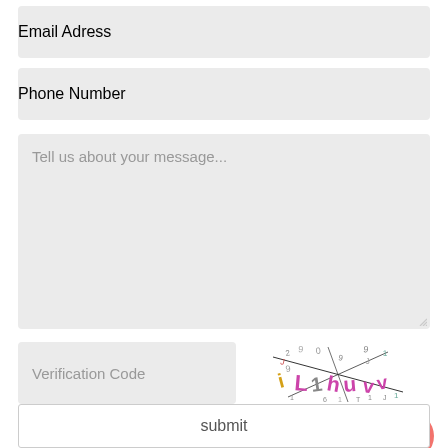Email Adress
Phone Number
Tell us about your message...
Verification Code
[Figure (other): CAPTCHA image with distorted alphanumeric characters in various colors]
submit